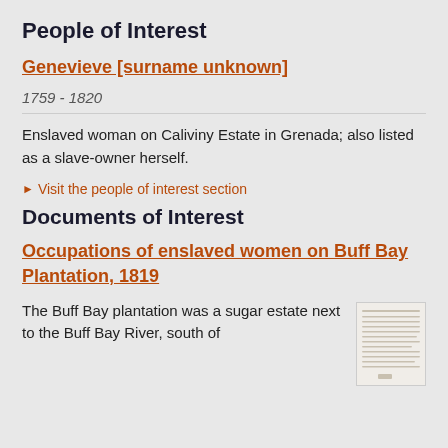People of Interest
Genevieve [surname unknown]
1759 - 1820
Enslaved woman on Caliviny Estate in Grenada; also listed as a slave-owner herself.
Visit the people of interest section
Documents of Interest
Occupations of enslaved women on Buff Bay Plantation, 1819
The Buff Bay plantation was a sugar estate next to the Buff Bay River, south of
[Figure (photo): Thumbnail image of a historical document, showing handwritten lines on aged paper.]